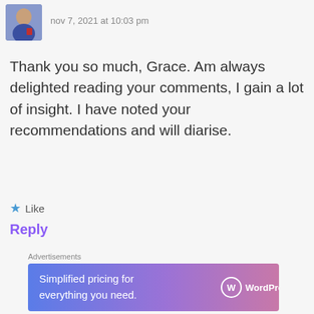[Figure (photo): Small avatar photo of a person in a blue/red jacket, partially cropped]
nov 7, 2021 at 10:03 pm
Thank you so much, Grace. Am always delighted reading your comments, I gain a lot of insight. I have noted your recommendations and will diarise.
★ Like
Reply
Advertisements
[Figure (illustration): WordPress.com advertisement banner with gradient background (blue to purple/pink). Text: 'Simplified pricing for everything you need.' with WordPress.com logo on the right.]
REPORT THIS AD
[Figure (illustration): Geometric teal and white pattern avatar for Esther Ngure]
Esther Ngure
nov 7, 2021 at 5:46 pm